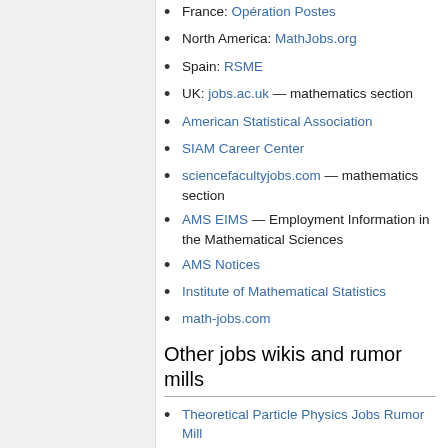France: Opération Postes
North America: MathJobs.org
Spain: RSME
UK: jobs.ac.uk — mathematics section
American Statistical Association
SIAM Career Center
sciencefacultyjobs.com — mathematics section
AMS EIMS — Employment Information in the Mathematical Sciences
AMS Notices
Institute of Mathematical Statistics
math-jobs.com
Other jobs wikis and rumor mills
Theoretical Particle Physics Jobs Rumor Mill
Astrophysics Jobs Rumor Wiki
Experimental High Energy Physics Job Rumor Mill
CM/AMO Jobs Rumor Mill